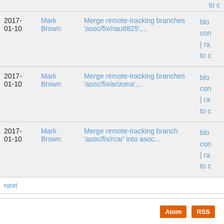| Date | Author | Message | Links |
| --- | --- | --- | --- |
| 2017-01-10 | Mark Brown | Merge remote-tracking branches 'asoc/fix/nau8825',... | blob | commit | raw | to c |
| 2017-01-10 | Mark Brown | Merge remote-tracking branches 'asoc/fix/arizona',... | blob | commit | raw | to c |
| 2017-01-10 | Mark Brown | Merge remote-tracking branch 'asoc/fix/rcar' into asoc... | blob | commit | raw | to c |
next
Linux kernel with Muen SK support
Atom   RSS